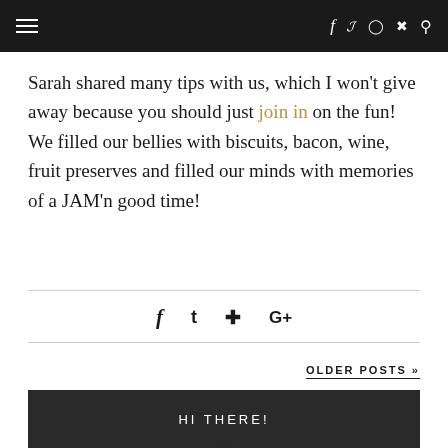Navigation header bar with hamburger menu and social icons (f, Twitter, Instagram, Pinterest, Search)
Sarah shared many tips with us, which I won't give away because you should just join in on the fun! We filled our bellies with biscuits, bacon, wine, fruit preserves and filled our minds with memories of a JAM'n good time!
[Figure (infographic): Social sharing icons: Facebook (f), Twitter, Pinterest, Google+]
OLDER POSTS »
HI THERE!